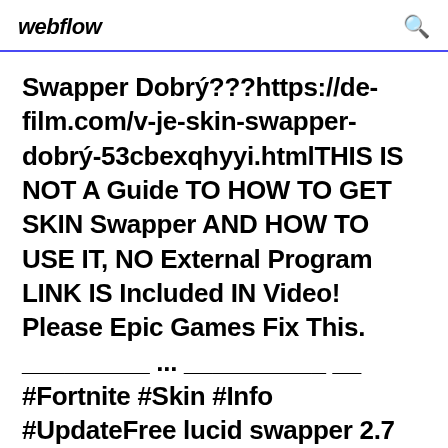webflow
Swapper Dobrý???https://de-film.com/v-je-skin-swapper-dobrý-53cbexqhyyi.htmlTHIS IS NOT A Guide TO HOW TO GET SKIN Swapper AND HOW TO USE IT, NO External Program LINK IS Included IN Video! Please Epic Games Fix This. _________ ... __________ __ #Fortnite #Skin #Info #UpdateFree lucid swapper 2.7 fortnite Download - lucid swapper 2.7... https://updatestar.com/topic/lucid